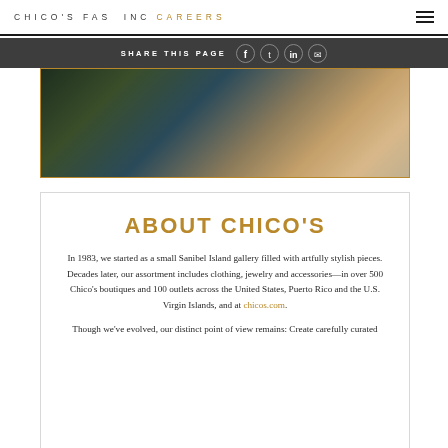CHICO'S FAS INC  CAREERS
SHARE THIS PAGE
[Figure (photo): Partial image of women in stylish clothing — a Chico's fashion photo showing colorful garments]
ABOUT CHICO'S
In 1983, we started as a small Sanibel Island gallery filled with artfully stylish pieces. Decades later, our assortment includes clothing, jewelry and accessories—in over 500 Chico's boutiques and 100 outlets across the United States, Puerto Rico and the U.S. Virgin Islands, and at chicos.com.
Though we've evolved, our distinct point of view remains: Create carefully curated